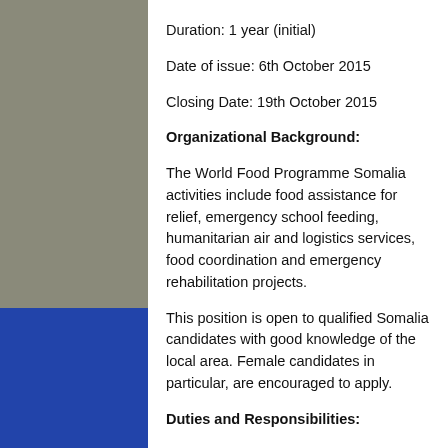Duration: 1 year (initial)
Date of issue: 6th October 2015
Closing Date: 19th October 2015
Organizational Background:
The World Food Programme Somalia activities include food assistance for relief, emergency school feeding, humanitarian air and logistics services, food coordination and emergency rehabilitation projects.
This position is open to qualified Somalia candidates with good knowledge of the local area. Female candidates in particular, are encouraged to apply.
Duties and Responsibilities:
Under the direct supervision of the Deputy Country Director, the incumbent will be responsible for the following duties: